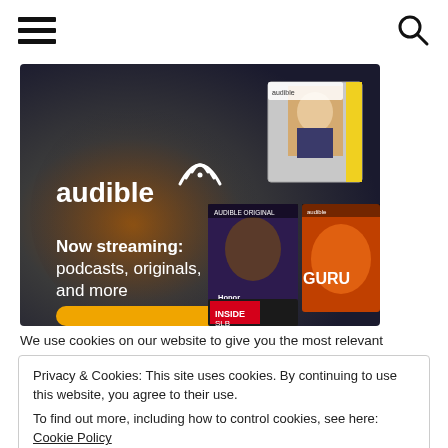[hamburger menu icon] [search icon]
[Figure (photo): Audible advertisement banner with dark background and gold/brown gradient. Shows the Audible logo with text 'Now streaming: podcasts, originals, and more'. Multiple book/podcast cover images visible including 'Honor Yourself', 'GURU', and 'Inside SLB'. A yellow button is partially visible at the bottom.]
We use cookies on our website to give you the most relevant
Privacy & Cookies: This site uses cookies. By continuing to use this website, you agree to their use.
To find out more, including how to control cookies, see here: Cookie Policy
[Close and accept button]